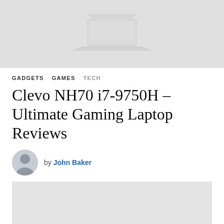[Figure (photo): Top hero image placeholder, light gray background with faint laptop silhouette graphic]
GADGETS   GAMES   TECH
Clevo NH70 i7-9750H – Ultimate Gaming Laptop Reviews
by John Baker
[Figure (photo): Large gray placeholder image below the author row]